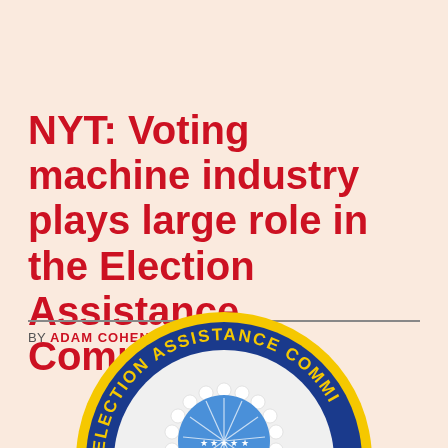NYT: Voting machine industry plays large role in the Election Assistance Commission
BY ADAM COHEN
[Figure (logo): Election Assistance Commission seal — circular blue and yellow emblem with text 'ELECTION ASSISTANCE COMMISSION' around the border and decorative central emblem, partially cropped at bottom of page]